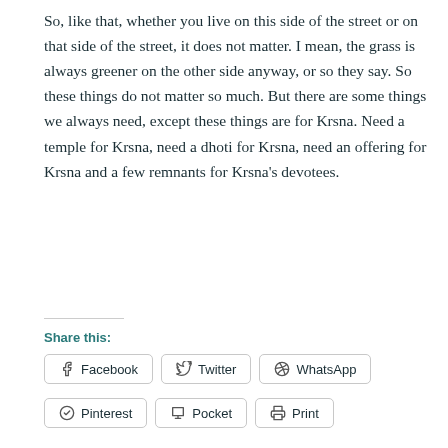So, like that, whether you live on this side of the street or on that side of the street, it does not matter. I mean, the grass is always greener on the other side anyway, or so they say. So these things do not matter so much. But there are some things we always need, except these things are for Krsna. Need a temple for Krsna, need a dhoti for Krsna, need an offering for Krsna and a few remnants for Krsna's devotees.
Share this:
Facebook | Twitter | WhatsApp | Pinterest | Pocket | Print